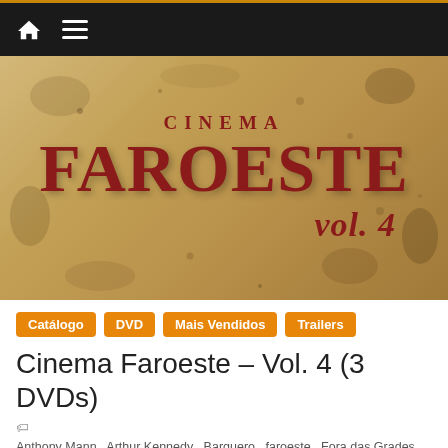Navigation bar with home and menu icons
[Figure (illustration): Cinema Faroeste Vol. 4 DVD cover — distressed parchment-style background in tan/sepia tones with dark red bold western-style text reading CINEMA on top, FAROESTE in large letters, and vol.4 in italic at bottom right]
Catálogo
DVD
Mais Vendidos
Trailers
Cinema Faroeste – Vol. 4 (3 DVDs)
Anthony Mann , Arthur Kennedy , Barquero , faroeste , Fora das Grades , Forrest Tucker , Fúria Selvagem , Gary Cooper , Gary Merrill , Gordo… Wilcoxon , James Cagney , John Derek , John Huston , Julie London , Lee J. Cobb , Lee Van Cleef , Man in the Wilderness , Man of the West , Nas Margens do Rio Grande ,